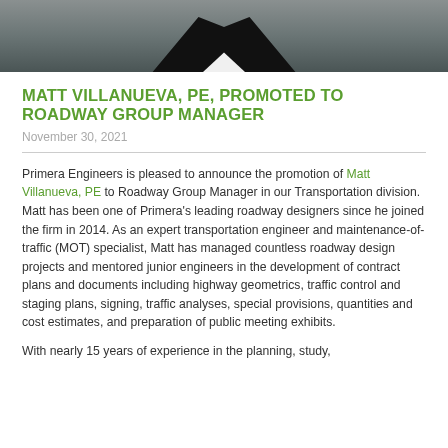[Figure (photo): Cropped photo of Matt Villanueva wearing a dark suit with white collar/tie visible at bottom]
MATT VILLANUEVA, PE, PROMOTED TO ROADWAY GROUP MANAGER
November 30, 2021
Primera Engineers is pleased to announce the promotion of Matt Villanueva, PE to Roadway Group Manager in our Transportation division. Matt has been one of Primera's leading roadway designers since he joined the firm in 2014. As an expert transportation engineer and maintenance-of-traffic (MOT) specialist, Matt has managed countless roadway design projects and mentored junior engineers in the development of contract plans and documents including highway geometrics, traffic control and staging plans, signing, traffic analyses, special provisions, quantities and cost estimates, and preparation of public meeting exhibits.
With nearly 15 years of experience in the planning, study,